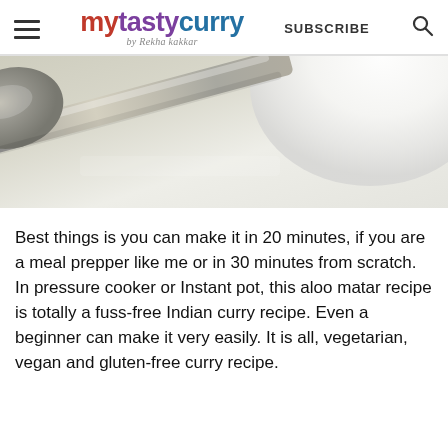mytastycurry by Rekha kakkar | SUBSCRIBE
[Figure (photo): Close-up photo of a metal spoon resting near a white bowl on a light surface, partially cropped at top]
Best things is you can make it in 20 minutes, if you are a meal prepper like me or in 30 minutes from scratch. In pressure cooker or Instant pot, this aloo matar recipe is totally a fuss-free Indian curry recipe. Even a beginner can make it very easily. It is all, vegetarian, vegan and gluten-free curry recipe.